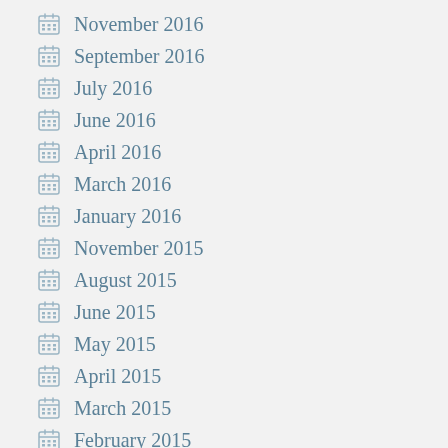November 2016
September 2016
July 2016
June 2016
April 2016
March 2016
January 2016
November 2015
August 2015
June 2015
May 2015
April 2015
March 2015
February 2015